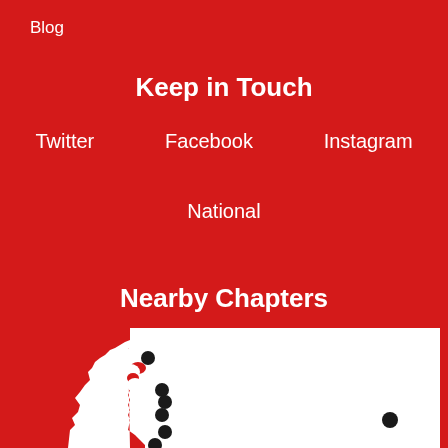Blog
Keep in Touch
Twitter     Facebook     Instagram
National
Nearby Chapters
[Figure (map): Map of Washington State (Pacific Northwest region) showing nearby chapter locations as dark dots placed along the Puget Sound area and eastern part of the state. The map is white landmass on red background.]